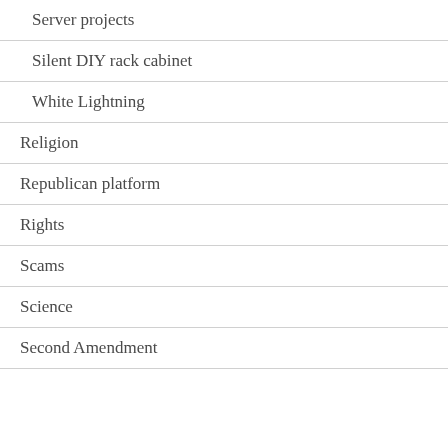Server projects
Silent DIY rack cabinet
White Lightning
Religion
Republican platform
Rights
Scams
Science
Second Amendment